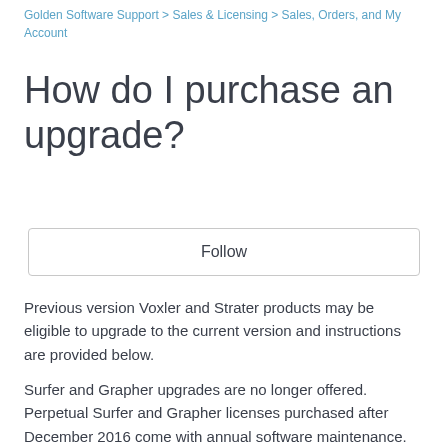Golden Software Support > Sales & Licensing > Sales, Orders, and My Account
How do I purchase an upgrade?
Follow
Previous version Voxler and Strater products may be eligible to upgrade to the current version and instructions are provided below.
Surfer and Grapher upgrades are no longer offered. Perpetual Surfer and Grapher licenses purchased after December 2016 come with annual software maintenance. Active software maintenance entitles you to new versions as